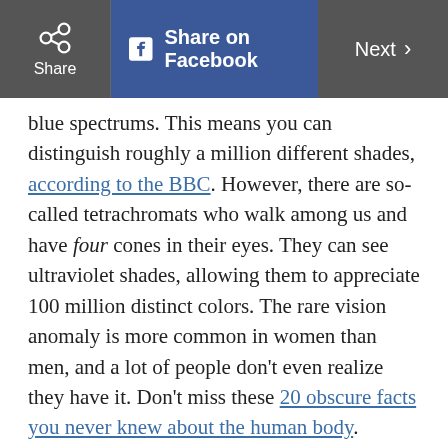Share | Share on Facebook | Next
blue spectrums. This means you can distinguish roughly a million different shades, according to the BBC. However, there are so-called tetrachromats who walk among us and have four cones in their eyes. They can see ultraviolet shades, allowing them to appreciate 100 million distinct colors. The rare vision anomaly is more common in women than men, and a lot of people don't even realize they have it. Don't miss these 20 obscure facts you never knew about the human body.
ADVERTISEMENT